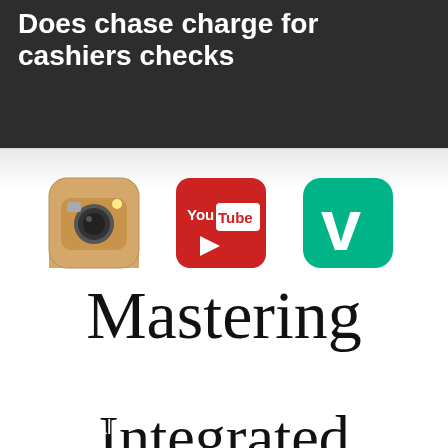Does chase charge for cashiers checks
[Figure (illustration): Book cover for 'Mastering Integrated Social Campaigns' showing social media icons including Instagram, YouTube, Vine (top row) and Twitter, Pinterest, Facebook (bottom row), with large handwritten-style text in the center.]
And how do you avoid fraud? When you take a personal